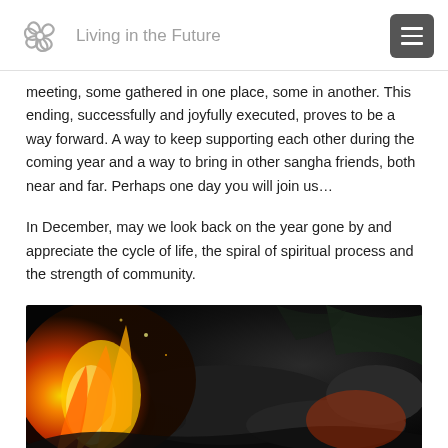Living in the Future
meeting, some gathered in one place, some in another. This ending, successfully and joyfully executed, proves to be a way forward. A way to keep supporting each other during the coming year and a way to bring in other sangha friends, both near and far. Perhaps one day you will join us…
In December, may we look back on the year gone by and appreciate the cycle of life, the spiral of spiritual process and the strength of community.
[Figure (photo): A close-up photograph of a fire burning with orange and yellow flames, with dark rocks and charred wood visible in the background.]